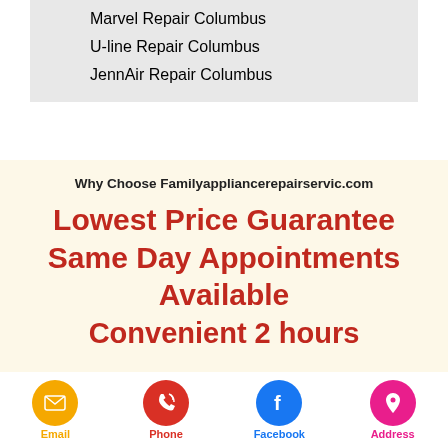Marvel Repair Columbus
U-line Repair Columbus
JennAir Repair Columbus
Why Choose Familyappliancerepairservic.com
Lowest Price Guarantee Same Day Appointments Available Convenient 2 hours
Email  Phone  Facebook  Address